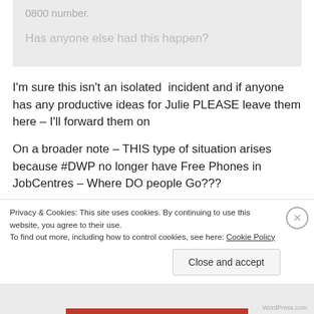0800 number.
Has anyone else had this happen?
I'm sure this isn't an isolated incident and if anyone has any productive ideas for Julie PLEASE leave them here – I'll forward them on
On a broader note – THIS type of situation arises because #DWP no longer have Free Phones in JobCentres – Where DO people Go???
Privacy & Cookies: This site uses cookies. By continuing to use this website, you agree to their use.
To find out more, including how to control cookies, see here: Cookie Policy
Close and accept